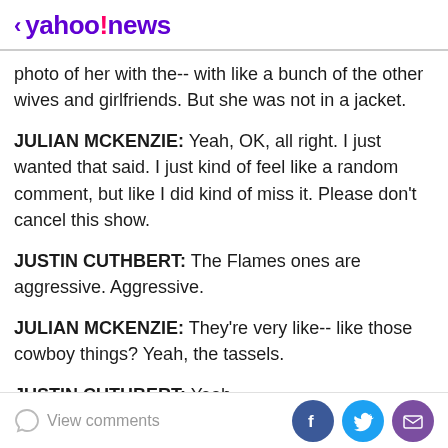< yahoo!news
photo of her with the-- with like a bunch of the other wives and girlfriends. But she was not in a jacket.
JULIAN MCKENZIE: Yeah, OK, all right. I just wanted that said. I just kind of feel like a random comment, but like I did kind of miss it. Please don't cancel this show.
JUSTIN CUTHBERT: The Flames ones are aggressive. Aggressive.
JULIAN MCKENZIE: They're very like-- like those cowboy things? Yeah, the tassels.
JUSTIN CUTHBERT: Yeah--
JULIAN MCKENZIE: Like, no, no, no, no, no. I'm not
View comments